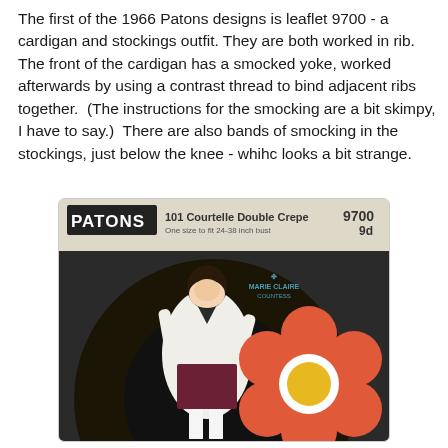The first of the 1966 Patons designs is leaflet 9700 - a cardigan and stockings outfit. They are both worked in rib. The front of the cardigan has a smocked yoke, worked afterwards by using a contrast thread to bind adjacent ribs together.  (The instructions for the smocking are a bit skimpy, I have to say.)  There are also bands of smocking in the stockings, just below the knee - whihc looks a bit strange.
[Figure (photo): Patons knitting pattern leaflet 9700 cover showing a woman in a white cardigan and dark mini skirt holding a large decorative flower prop, with 'PATONS 101 Courtelle Double Crepe 9700 9d' printed at the top, and a 'Marie Claire Countess' logo visible.]